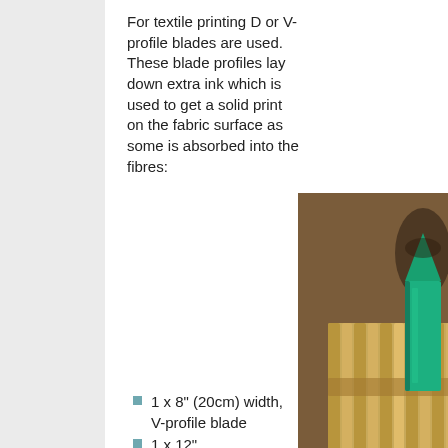For textile printing D or V-profile blades are used. These blade profiles lay down extra ink which is used to get a solid print on the fabric surface as some is absorbed into the fibres:
[Figure (photo): Close-up photograph of a V-profile squeegee blade (green/teal colored, pointed tip) mounted in a wooden squeegee holder with ribbed wooden sides, shown on a brown background.]
1 x 8" (20cm) width, V-profile blade
1 x 12"